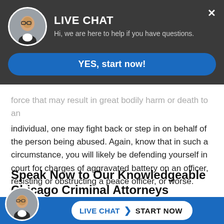[Figure (screenshot): Live chat popup overlay with attorney avatar, 'LIVE CHAT' title, subtitle 'Hi, we are here to help if you have questions.', and a blue 'YES, start now!' button]
force that may result in great bodily harm or death to an individual, one may fight back or step in on behalf of the person being abused. Again, know that in such a circumstance, you will likely be defending yourself in court for charges of aggravated battery on an officer, resisting or obstructing a peace officer, or worse.
Speak Now to Our Knowledgeable Chicago Criminal Attorneys
Crimes involving violence such as battery, aggravated battery...severe
[Figure (screenshot): Bottom blue bar with attorney avatar and 'LIVE CHAT START NOW' button]